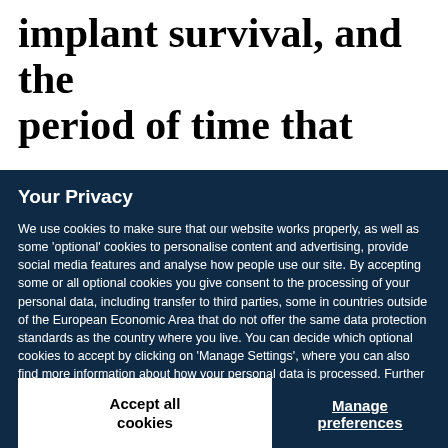implant survival, and the period of time that
Your Privacy
We use cookies to make sure that our website works properly, as well as some 'optional' cookies to personalise content and advertising, provide social media features and analyse how people use our site. By accepting some or all optional cookies you give consent to the processing of your personal data, including transfer to third parties, some in countries outside of the European Economic Area that do not offer the same data protection standards as the country where you live. You can decide which optional cookies to accept by clicking on 'Manage Settings', where you can also find more information about how your personal data is processed. Further information can be found in our privacy policy.
Accept all cookies
Manage preferences